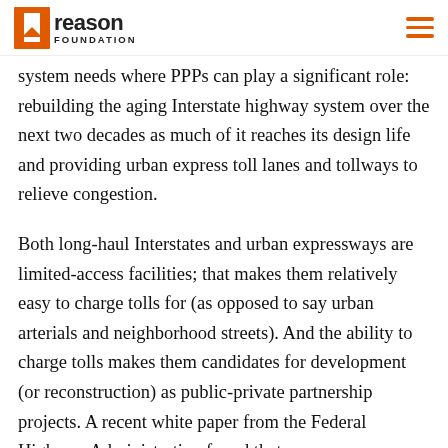Reason Foundation
system needs where PPPs can play a significant role: rebuilding the aging Interstate highway system over the next two decades as much of it reaches its design life and providing urban express toll lanes and tollways to relieve congestion.
Both long-haul Interstates and urban expressways are limited-access facilities; that makes them relatively easy to charge tolls for (as opposed to say urban arterials and neighborhood streets). And the ability to charge tolls makes them candidates for development (or reconstruction) as public-private partnership projects. A recent white paper from the Federal Highway Administration found that over the next decade, tolls financed between 1/3...